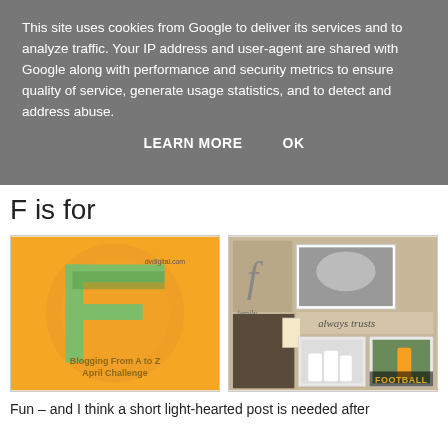This site uses cookies from Google to deliver its services and to analyze traffic. Your IP address and user-agent are shared with Google along with performance and security metrics to ensure quality of service, generate usage statistics, and to detect and address abuse.
LEARN MORE    OK
F is for
[Figure (illustration): Orange and green letter F graphic with text 'Blogging From A to Z April Challenge']
[Figure (photo): Scrapbook style collage with photos of children playing football and text 'family', 'always trusts', 'FOOTBALL']
Fun – and I think a short light-hearted post is needed after